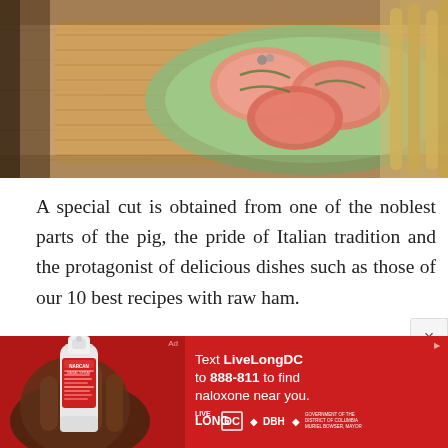[Figure (photo): Food photo showing raw ham/prosciutto pieces on a green plate in a wicker basket tray, with breadsticks visible on the right side, on a wooden surface.]
A special cut is obtained from one of the noblest parts of the pig, the pride of Italian tradition and the protagonist of delicious dishes such as those of our 10 best recipes with raw ham.
Raw ham is one of the most versatile ingredients in the kitchen: excellent for filling a tasty focaccia or a succulent pizza, but also for making delicious appetizers, first and second courses rich in flavor.
[Figure (photo): Advertisement banner with red background. Left side shows a hand holding a Narcan nasal spray device. Right side shows text: 'Text LiveLongDC to 888-811 to find naloxone near you.' with Live Long DC, DBH, and DC Government logos.]